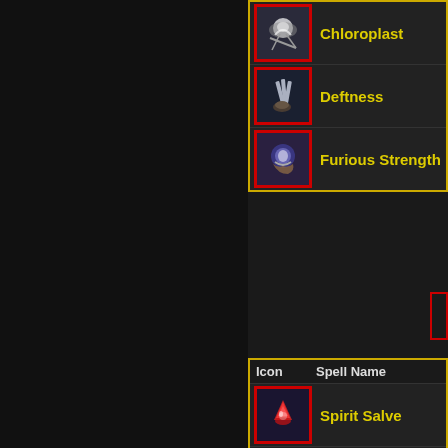| Icon | Spell Name |
| --- | --- |
| [icon] | Chloroplast |
| [icon] | Deftness |
| [icon] | Furious Strength |
| Icon | Spell Name |
| --- | --- |
| [icon] | Spirit Salve |
| [icon] | Summon Companion |
| [icon] | Talisman of Altuna |